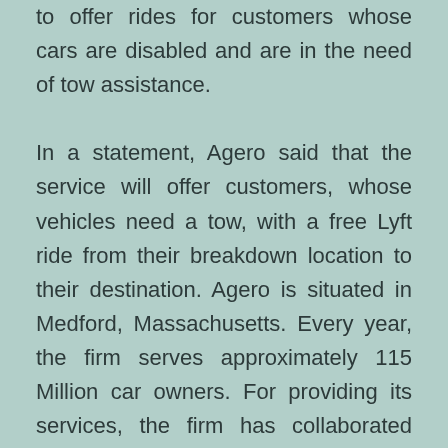to offer rides for customers whose cars are disabled and are in the need of tow assistance.

In a statement, Agero said that the service will offer customers, whose vehicles need a tow, with a free Lyft ride from their breakdown location to their destination. Agero is situated in Medford, Massachusetts. Every year, the firm serves approximately 115 Million car owners. For providing its services, the firm has collaborated with numerous insurance carriers, auto manufacturers, and others. Last year, Lyft disclosed the completion of about 30.7 Million successful rides. At the same time, the firm